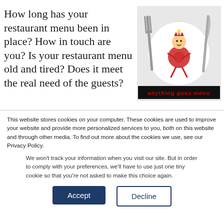How long has your restaurant menu been in place?  How in touch are you? Is your restaurant menu old and tired?  Does it meet the real need of the guests?
[Figure (illustration): A white dinner plate with a cartoon figure made of food items (tomatoes/vegetables forming a person shape with crown), flanked by a fork on the left and a knife on the right, with red text 'anything goes menu' at the bottom of the image.]
This website stores cookies on your computer. These cookies are used to improve your website and provide more personalized services to you, both on this website and through other media. To find out more about the cookies we use, see our Privacy Policy.
We won't track your information when you visit our site. But in order to comply with your preferences, we'll have to use just one tiny cookie so that you're not asked to make this choice again.
Accept
Decline